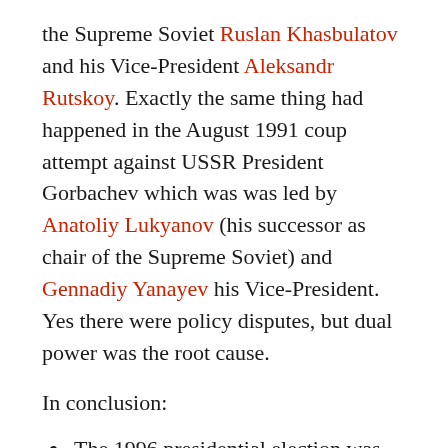the Supreme Soviet Ruslan Khasbulatov and his Vice-President Aleksandr Rutskoy. Exactly the same thing had happened in the August 1991 coup attempt against USSR President Gorbachev which was was led by Anatoliy Lukyanov (his successor as chair of the Supreme Soviet) and Gennadiy Yanayev his Vice-President. Yes there were policy disputes, but dual power was the root cause.
In conclusion:
The 1996 presidential election was an immensely important turning point in post-USSR Russian history; it made possible what we have in 2021.
My first essay argued that Yeltsin won because the majority did not want the communists back and